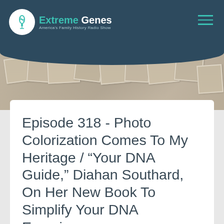Extreme Genes — America's Family History Radio Show
[Figure (photo): Collage of vintage sepia-toned old family photographs scattered across a surface, used as a decorative banner image]
Episode 318 - Photo Colorization Comes To My Heritage / “Your DNA Guide,” Diahan Southard, On Her New Book To Simplify Your DNA Experience